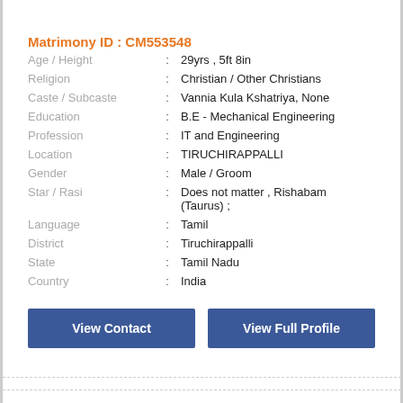Matrimony ID : CM553548
| Field | : | Value |
| --- | --- | --- |
| Age / Height | : | 29yrs , 5ft 8in |
| Religion | : | Christian / Other Christians |
| Caste / Subcaste | : | Vannia Kula Kshatriya, None |
| Education | : | B.E - Mechanical Engineering |
| Profession | : | IT and Engineering |
| Location | : | TIRUCHIRAPPALLI |
| Gender | : | Male / Groom |
| Star / Rasi | : | Does not matter , Rishabam (Taurus) ; |
| Language | : | Tamil |
| District | : | Tiruchirappalli |
| State | : | Tamil Nadu |
| Country | : | India |
View Contact
View Full Profile